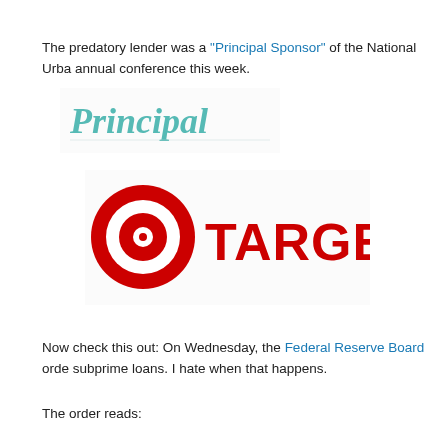The predatory lender was a "Principal Sponsor" of the National Urban annual conference this week.
[Figure (logo): Principal logo in teal italic script font]
[Figure (logo): Target logo - bullseye icon and TARGET wordmark in red]
Now check this out: On Wednesday, the Federal Reserve Board ordered subprime loans. I hate when that happens.
The order reads: